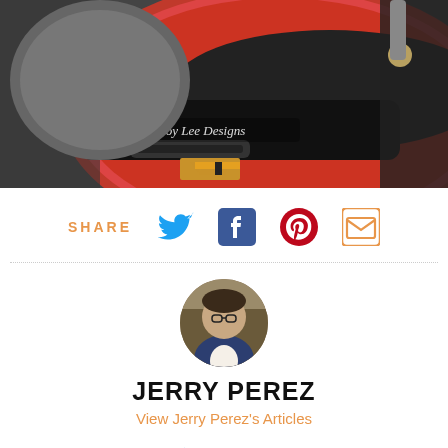[Figure (photo): A racing driver wearing a red and black Troy Lee Designs helmet with Chevrolet logo visible]
SHARE
[Figure (infographic): Social share icons: Twitter, Facebook, Pinterest, Email]
[Figure (photo): Circular profile photo of Jerry Perez, a man wearing glasses and a suit]
JERRY PEREZ
View Jerry Perez's Articles
DrivesWGirls
DrivesWGirls